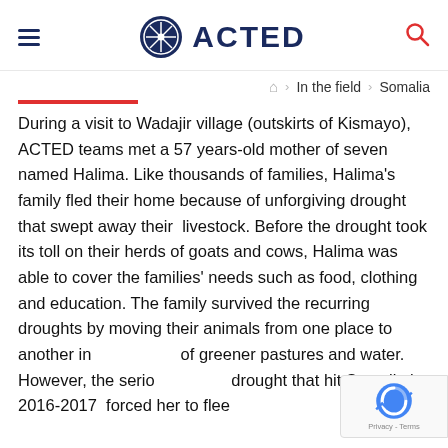≡  ACTED  🔍
In the field  >  Somalia
During a visit to Wadajir village (outskirts of Kismayo), ACTED teams met a 57 years-old mother of seven named Halima. Like thousands of families, Halima's family fled their home because of unforgiving drought that swept away their  livestock. Before the drought took its toll on their herds of goats and cows, Halima was able to cover the families' needs such as food, clothing and education. The family survived the recurring droughts by moving their animals from one place to another in search of greener pastures and water. However, the serious drought that hit Somalia in 2016-2017  forced her to flee